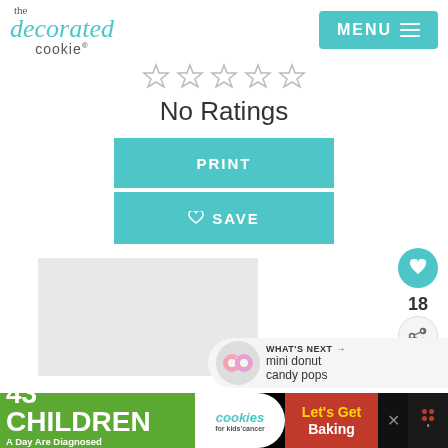the decorated cookie — MENU
No Ratings
PRINT
♡ SAVE
[Figure (screenshot): Heart/like button circle with count 18 and share button on right side]
[Figure (photo): Light gray content image placeholder area]
WHAT'S NEXT → mini donut candy pops
[Figure (infographic): Advertisement bar: 43 CHILDREN A Day Are Diagnosed With Cancer in the U.S. — cookies for kids cancer — Let's Get Baking (with close and icon buttons)]